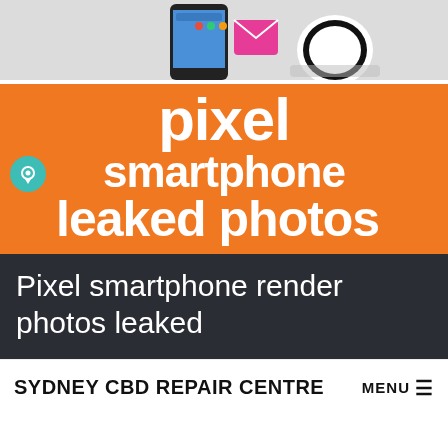[Figure (illustration): Top portion showing Google Pixel smartphone render with pink and white accessories on light gray background]
[Figure (infographic): Orange banner with bold white text reading 'pixel smartphone leaked photos' with a teal chat bubble icon on the left side]
Pixel smartphone render photos leaked
SYDNEY CBD REPAIR CENTRE  MENU  ≡